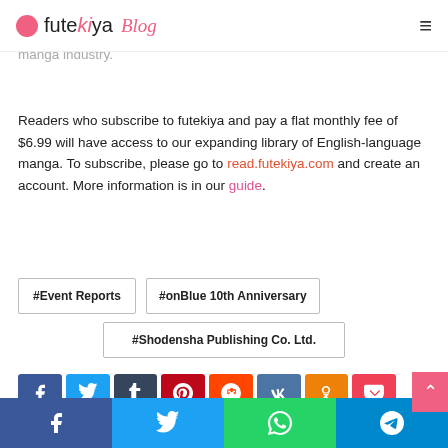futekiya Blog
best BL/yaoi/BL titles. With English translated BL legally and conveniently, futekiya empowers readers to support creators and the manga industry.
Readers who subscribe to futekiya and pay a flat monthly fee of $6.99 will have access to our expanding library of English-language manga. To subscribe, please go to read.futekiya.com and create an account. More information is in our guide.
#Event Reports
#onBlue 10th Anniversary
#Shodensha Publishing Co. Ltd.
[Figure (other): Social share buttons row: Facebook, Twitter, Tumblr, Pinterest, Reddit, VK, Odnoklassniki, Pocket]
Facebook, Twitter, WhatsApp, Telegram share bar